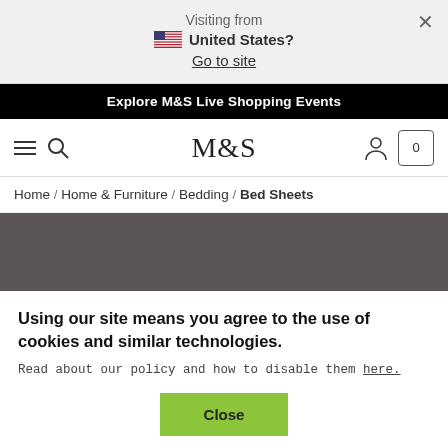Visiting from
🇺🇸 United States?
Go to site
Explore M&S Live Shopping Events
[Figure (logo): M&S logo in center of navigation bar with hamburger menu, search icon on left and user icon, basket with 0 on right]
Home / Home & Furniture / Bedding / Bed Sheets
[Figure (photo): Dark grey/brown hero image area, partially visible]
Using our site means you agree to the use of cookies and similar technologies.
Read about our policy and how to disable them here.
Close